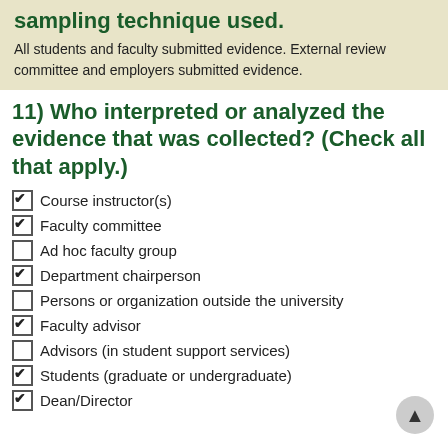sampling technique used.
All students and faculty submitted evidence. External review committee and employers submitted evidence.
11) Who interpreted or analyzed the evidence that was collected? (Check all that apply.)
Course instructor(s) [checked]
Faculty committee [checked]
Ad hoc faculty group [unchecked]
Department chairperson [checked]
Persons or organization outside the university [unchecked]
Faculty advisor [checked]
Advisors (in student support services) [unchecked]
Students (graduate or undergraduate) [checked]
Dean/Director [checked]